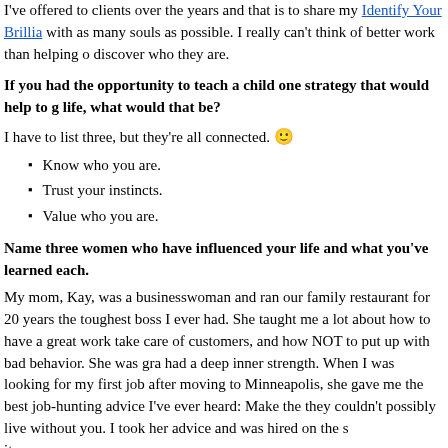I've offered to clients over the years and that is to share my Identify Your Brillia... with as many souls as possible. I really can't think of better work than helping o... discover who they are.
If you had the opportunity to teach a child one strategy that would help to g... life, what would that be?
I have to list three, but they're all connected. 🙂
Know who you are.
Trust your instincts.
Value who you are.
Name three women who have influenced your life and what you've learned each.
My mom, Kay, was a businesswoman and ran our family restaurant for 20 years... the toughest boss I ever had. She taught me a lot about how to have a great work... take care of customers, and how NOT to put up with bad behavior. She was gra... had a deep inner strength. When I was looking for my first job after moving to Minneapolis, she gave me the best job-hunting advice I've ever heard: Make the... they couldn't possibly live without you. I took her advice and was hired on the s...